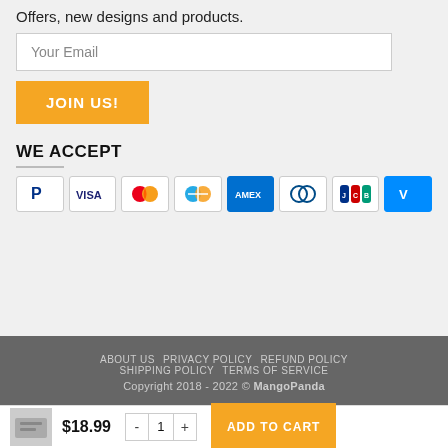Offers, new designs and products.
Your Email
JOIN US!
WE ACCEPT
[Figure (other): Payment method icons: PayPal, Visa, Mastercard, Maestro, American Express, Diners Club, JCB, Venmo]
ABOUT US  PRIVACY POLICY  REFUND POLICY  SHIPPING POLICY  TERMS OF SERVICE
Copyright 2018 - 2022 © MangoPanda
$18.99
ADD TO CART